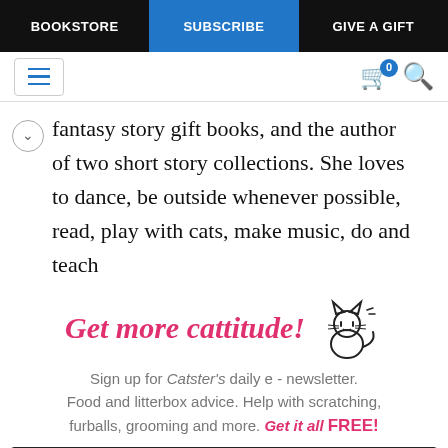BOOKSTORE | SUBSCRIBE | GIVE A GIFT
fantasy story gift books, and the author of two short story collections. She loves to dance, be outside whenever possible, read, play with cats, make music, do and teach
Get more cattitude!
Sign up for Catster's daily e - newsletter. Food and litterbox advice. Help with scratching, furballs, grooming and more. Get it all FREE!
Enter your Email
YES! SIGN ME UP